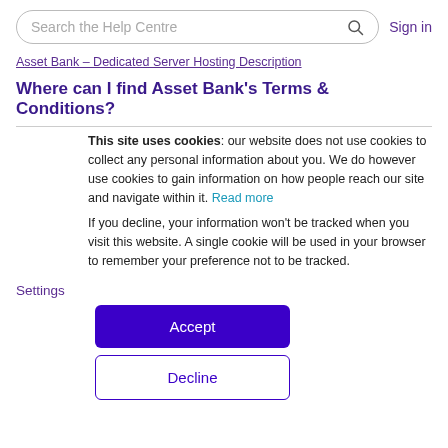Search the Help Centre  Sign in
Asset Bank – Dedicated Server Hosting Description
Where can I find Asset Bank's Terms & Conditions?
This site uses cookies: our website does not use cookies to collect any personal information about you. We do however use cookies to gain information on how people reach our site and navigate within it. Read more
If you decline, your information won't be tracked when you visit this website. A single cookie will be used in your browser to remember your preference not to be tracked.
Settings
Accept
Decline